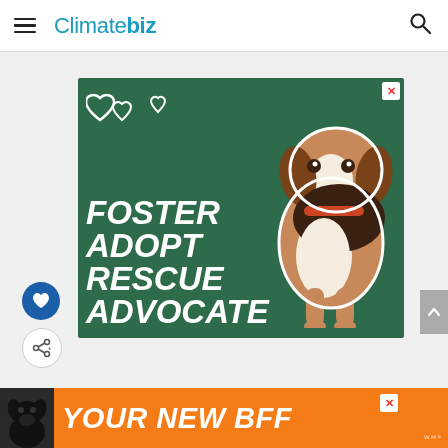Climatebiz
[Figure (illustration): Green pet adoption advertisement with a beagle dog image and text: FOSTER ADOPT RESCUE ADVOCATE with heart icons. Close X button in top right corner.]
[Figure (illustration): Orange bottom banner ad with black dog silhouette and text: YOUR NEW BFF]